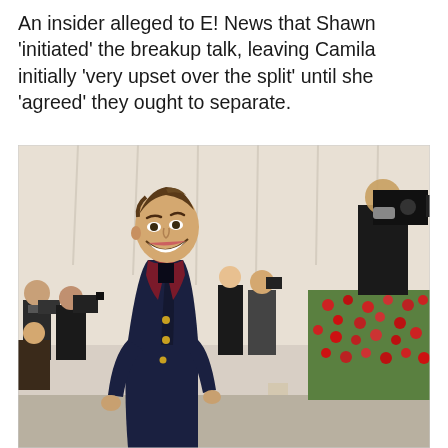An insider alleged to E! News that Shawn 'initiated' the breakup talk, leaving Camila initially 'very upset over the split' until she 'agreed' they ought to separate.
[Figure (photo): A young man smiling broadly, wearing a navy double-breasted coat with a dark burgundy/maroon lapel collar, standing on steps at what appears to be a red carpet event (Met Gala). In the background are photographers and attendees with cameras, and hedges decorated with red roses.]